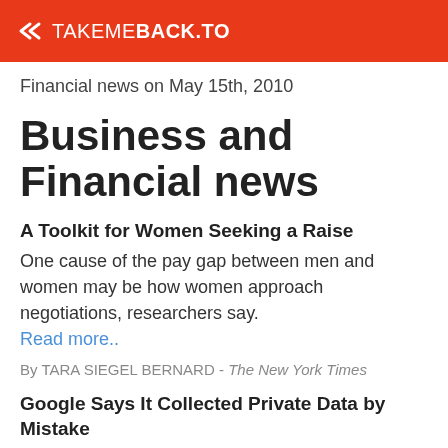TAKEMEBACK.TO
Financial news on May 15th, 2010
Business and Financial news
A Toolkit for Women Seeking a Raise
One cause of the pay gap between men and women may be how women approach negotiations, researchers say. Read more..
By TARA SIEGEL BERNARD - The New York Times
Google Says It Collected Private Data by Mistake
The company said a programming error resulted in the collecting of snippets of data that happened to be transmitted over nonpassword protected Wi-Fi networks that the Google camera cars were passing. Read more..
By BRAD STONE - The New York Times